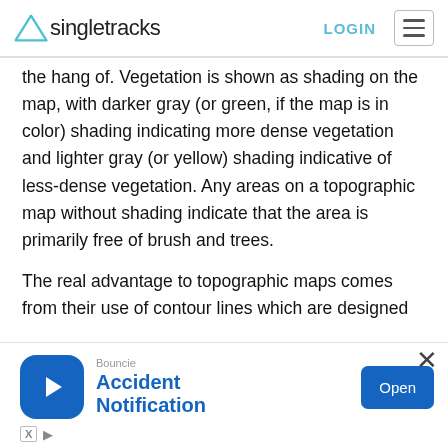Singletracks — LOGIN
the hang of. Vegetation is shown as shading on the map, with darker gray (or green, if the map is in color) shading indicating more dense vegetation and lighter gray (or yellow) shading indicative of less-dense vegetation. Any areas on a topographic map without shading indicate that the area is primarily free of brush and trees.
The real advantage to topographic maps comes from their use of contour lines which are designed to indicate elevation and steepness of the terrain
[Figure (screenshot): Advertisement banner for Bouncie Accident Notification app with blue circular icon containing a cursor/arrow, blue 'Open' button, and small ad attribution icons at bottom left.]